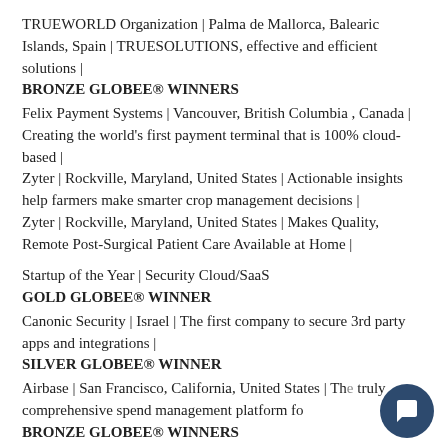TRUEWORLD Organization | Palma de Mallorca, Balearic Islands, Spain | TRUESOLUTIONS, effective and efficient solutions |
BRONZE GLOBEE® WINNERS
Felix Payment Systems | Vancouver, British Columbia , Canada | Creating the world's first payment terminal that is 100% cloud-based |
Zyter | Rockville, Maryland, United States | Actionable insights help farmers make smarter crop management decisions |
Zyter | Rockville, Maryland, United States | Makes Quality, Remote Post-Surgical Patient Care Available at Home |
Startup of the Year | Security Cloud/SaaS
GOLD GLOBEE® WINNER
Canonic Security | Israel | The first company to secure 3rd party apps and integrations |
SILVER GLOBEE® WINNER
Airbase | San Francisco, California, United States | The truly comprehensive spend management platform fo
BRONZE GLOBEE® WINNERS
Dispersive Holdings, Inc. (Dispersive) | Roswell, Georgia, USA